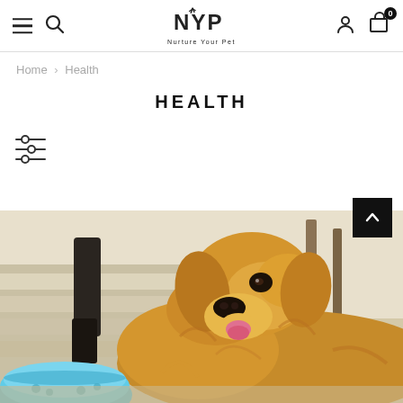NYP Nurture Your Pet — navigation bar with hamburger menu, search, logo, user account, and cart (0)
Home > Health
HEALTH
[Figure (other): Filter/sliders icon (three horizontal lines with circular handles)]
[Figure (photo): Golden retriever dog lying down with tongue out, next to a light blue food bowl, photographed in a home interior with wooden stairs in the background]